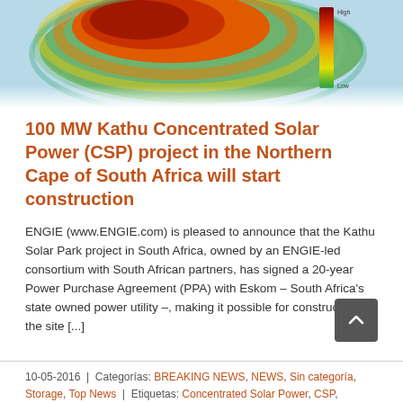[Figure (map): Solar irradiance heat map of southern Africa showing high solar resource areas in orange/red in the Northern Cape region and surrounding areas, with a color scale legend.]
100 MW Kathu Concentrated Solar Power (CSP) project in the Northern Cape of South Africa will start construction
ENGIE (www.ENGIE.com) is pleased to announce that the Kathu Solar Park project in South Africa, owned by an ENGIE-led consortium with South African partners, has signed a 20-year Power Purchase Agreement (PPA) with Eskom – South Africa's state owned power utility –, making it possible for construction at the site [...]
10-05-2016  |  Categorías: BREAKING NEWS, NEWS, Sin categoría, Storage, Top News  |  Etiquetas: Concentrated Solar Power, CSP,